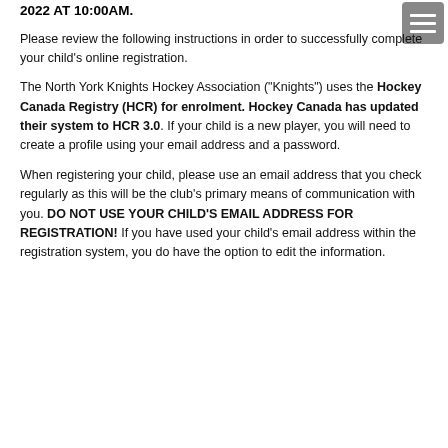2022 AT 10:00AM.
[Figure (other): Hamburger menu icon button in gray]
Please review the following instructions in order to successfully complete your child's online registration.
The North York Knights Hockey Association (“Knights”) uses the Hockey Canada Registry (HCR) for enrolment. Hockey Canada has updated their system to HCR 3.0. If your child is a new player, you will need to create a profile using your email address and a password.
When registering your child, please use an email address that you check regularly as this will be the club’s primary means of communication with you. DO NOT USE YOUR CHILD’S EMAIL ADDRESS FOR REGISTRATION! If you have used your child’s email address within the registration system, you do have the option to edit the information.